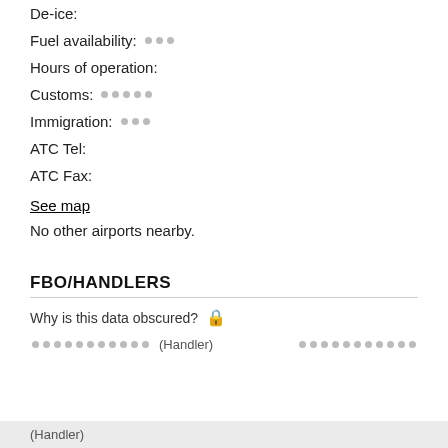De-ice:
Fuel availability: ●●●
Hours of operation:
Customs: ●●●●●
Immigration: ●●●
ATC Tel:
ATC Fax:
See map
No other airports nearby.
FBO/HANDLERS
Why is this data obscured? 🔒
●●●●●●●●●●● (Handler) ●●●●●●●●●●●
(Handler)